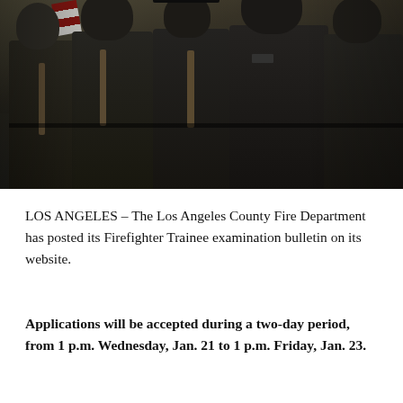[Figure (photo): Group of Los Angeles County firefighter trainees in dark uniforms with ties and caps, walking together outdoors]
LOS ANGELES – The Los Angeles County Fire Department has posted its Firefighter Trainee examination bulletin on its website.
Applications will be accepted during a two-day period, from 1 p.m. Wednesday, Jan. 21 to 1 p.m. Friday, Jan. 23.